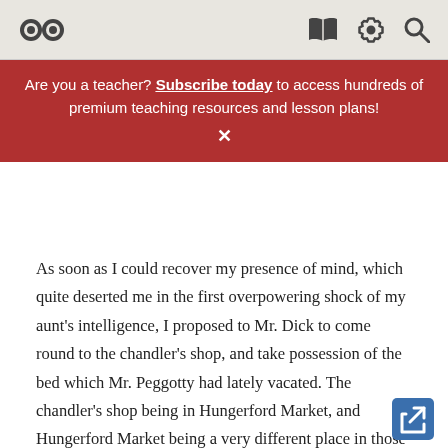Owl Eyes navigation bar with owl logo and icons for book, settings, and search
Are you a teacher? Subscribe today to access hundreds of premium teaching resources and lesson plans! ×
As soon as I could recover my presence of mind, which quite deserted me in the first overpowering shock of my aunt's intelligence, I proposed to Mr. Dick to come round to the chandler's shop, and take possession of the bed which Mr. Peggotty had lately vacated. The chandler's shop being in Hungerford Market, and Hungerford Market being a very different place in those days, there was a low wooden colonnade before the door (not very unlike that before the house where the little man and woman